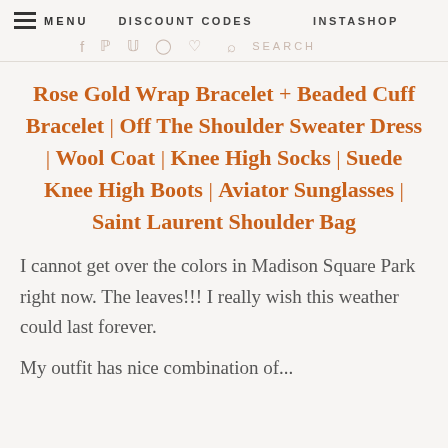MENU  DISCOUNT CODES  INSTASHOP
Rose Gold Wrap Bracelet + Beaded Cuff Bracelet | Off The Shoulder Sweater Dress | Wool Coat | Knee High Socks | Suede Knee High Boots | Aviator Sunglasses | Saint Laurent Shoulder Bag
I cannot get over the colors in Madison Square Park right now. The leaves!!! I really wish this weather could last forever.
My outfit has nice combination of...